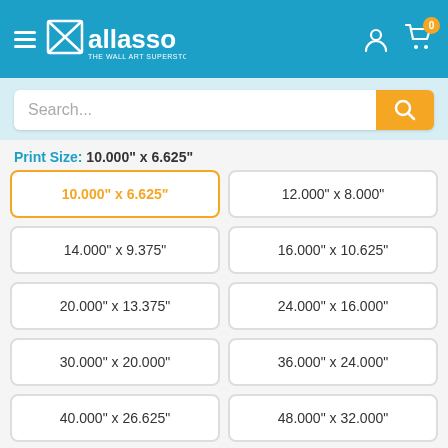Wallasso - The Wall Art Superstore
Search...
Print Size: 10.000" x 6.625"
10.000" x 6.625" (selected)
12.000" x 8.000"
14.000" x 9.375"
16.000" x 10.625"
20.000" x 13.375"
24.000" x 16.000"
30.000" x 20.000"
36.000" x 24.000"
40.000" x 26.625"
48.000" x 32.000"
60.000" x 40.000"
72.000" x 48.000"